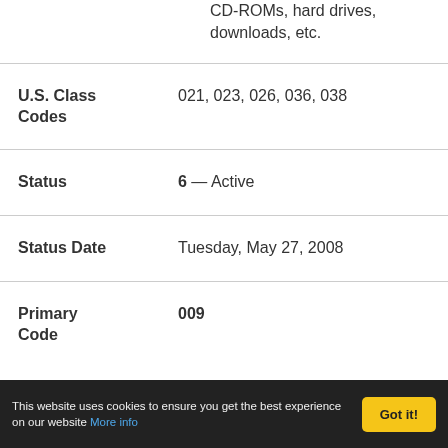CD-ROMs, hard drives, downloads, etc.
| Field | Value |
| --- | --- |
| U.S. Class Codes | 021, 023, 026, 036, 038 |
| Status | 6 — Active |
| Status Date | Tuesday, May 27, 2008 |
| Primary Code | 009 |
This website uses cookies to ensure you get the best experience on our website More info